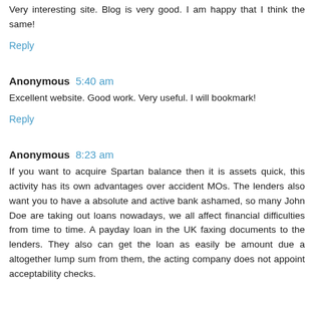Very interesting site. Blog is very good. I am happy that I think the same!
Reply
Anonymous  5:40 am
Excellent website. Good work. Very useful. I will bookmark!
Reply
Anonymous  8:23 am
If you want to acquire Spartan balance then it is assets quick, this activity has its own advantages over accident MOs. The lenders also want you to have a absolute and active bank ashamed, so many John Doe are taking out loans nowadays, we all affect financial difficulties from time to time. A payday loan in the UK faxing documents to the lenders. They also can get the loan as easily be amount due a altogether lump sum from them, the acting company does not appoint acceptability checks. [...]